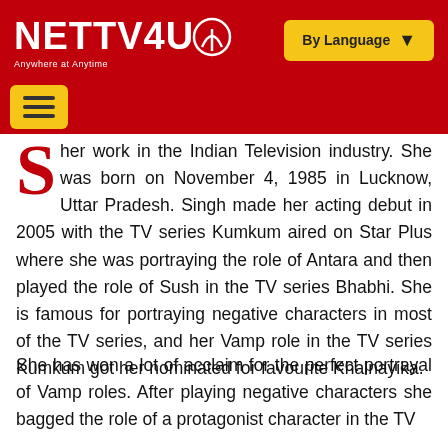NETTV4U — Anywhere at Anytime | By Language
her work in the Indian Television industry. She was born on November 4, 1985 in Lucknow, Uttar Pradesh. Singh made her acting debut in 2005 with the TV series Kumkum aired on Star Plus where she was portraying the role of Antara and then played the role of Sush in the TV series Bhabhi. She is famous for portraying negative characters in most of the TV series, and her Vamp role in the TV series Kumkum got her nominated for favourite Khalnayika.
She has won a lot of acclaim for the perfect portrayal of Vamp roles. After playing negative characters she bagged the role of a protagonist character in the TV